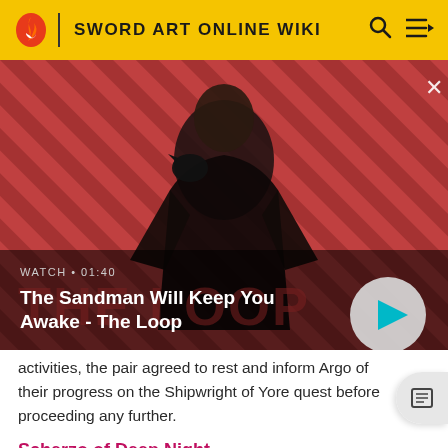SWORD ART ONLINE WIKI
[Figure (screenshot): Video thumbnail showing a dark-clad figure with a raven on shoulder against a red and dark diagonal striped background. Text overlay: WATCH • 01:40, The Sandman Will Keep You Awake - The Loop. Play button on right.]
activities, the pair agreed to rest and inform Argo of their progress on the Shipwright of Yore quest before proceeding any further.
Scherzo of Deep Night
Following the defeat of Wythege the Hippocampus, Asuna